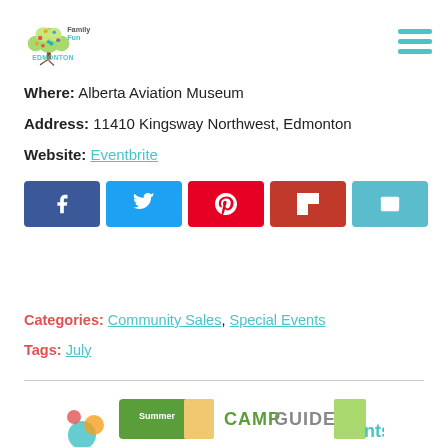[Figure (logo): FamilyFun Edmonton logo with colorful tree and text]
Where: Alberta Aviation Museum
Address: 11410 Kingsway Northwest, Edmonton
Website: Eventbrite
[Figure (infographic): Social share buttons: Facebook, Twitter, Pinterest, Flipboard, Email]
Categories: Community Sales, Special Events
Tags: July
[Figure (infographic): Summer Camp Guide banner at bottom of page]